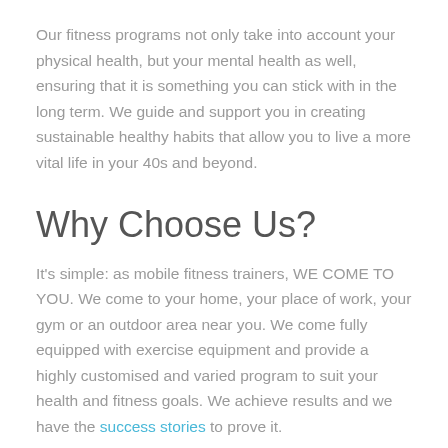Our fitness programs not only take into account your physical health, but your mental health as well, ensuring that it is something you can stick with in the long term. We guide and support you in creating sustainable healthy habits that allow you to live a more vital life in your 40s and beyond.
Why Choose Us?
It's simple: as mobile fitness trainers, WE COME TO YOU. We come to your home, your place of work, your gym or an outdoor area near you. We come fully equipped with exercise equipment and provide a highly customised and varied program to suit your health and fitness goals. We achieve results and we have the success stories to prove it.